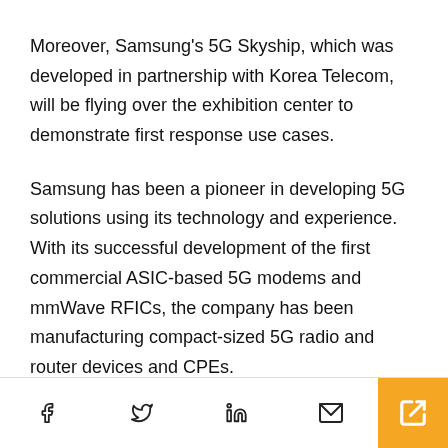Moreover, Samsung's 5G Skyship, which was developed in partnership with Korea Telecom, will be flying over the exhibition center to demonstrate first response use cases.
Samsung has been a pioneer in developing 5G solutions using its technology and experience. With its successful development of the first commercial ASIC-based 5G modems and mmWave RFICs, the company has been manufacturing compact-sized 5G radio and router devices and CPEs.
Social share icons: Facebook, Twitter, LinkedIn, Email, Share